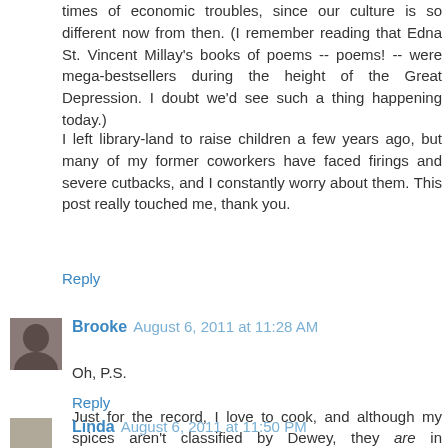times of economic troubles, since our culture is so different now from then. (I remember reading that Edna St. Vincent Millay's books of poems -- poems! -- were mega-bestsellers during the height of the Great Depression. I doubt we'd see such a thing happening today.)
I left library-land to raise children a few years ago, but many of my former coworkers have faced firings and severe cutbacks, and I constantly worry about them. This post really touched me, thank you.
Reply
Brooke August 6, 2011 at 11:28 AM
Oh, P.S.
Just for the record, I love to cook, and although my spices aren't classified by Dewey, they are in alphabetical order. :-)
Reply
Linda August 6, 2011 at 11:50 PM